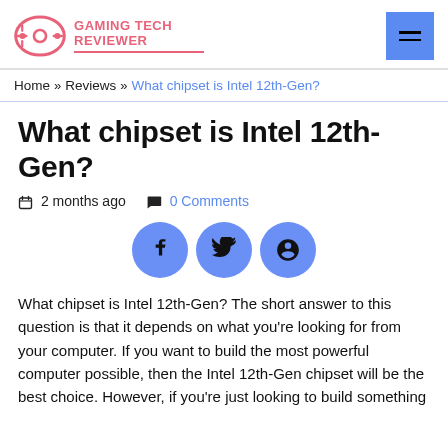GAMING TECH REVIEWER
Home » Reviews » What chipset is Intel 12th-Gen?
What chipset is Intel 12th-Gen?
2 months ago  0 Comments
[Figure (infographic): Social share buttons: Facebook, Twitter, Pinterest]
What chipset is Intel 12th-Gen? The short answer to this question is that it depends on what you're looking for from your computer. If you want to build the most powerful computer possible, then the Intel 12th-Gen chipset will be the best choice. However, if you're just looking to build something